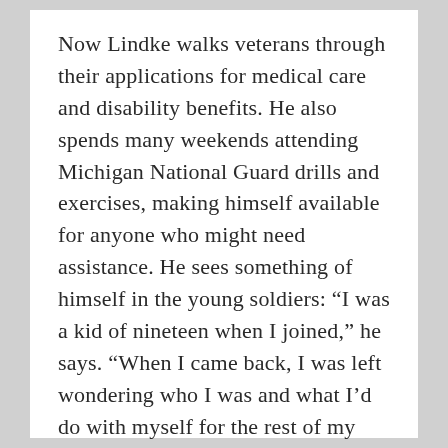Now Lindke walks veterans through their applications for medical care and disability benefits. He also spends many weekends attending Michigan National Guard drills and exercises, making himself available for anyone who might need assistance. He sees something of himself in the young soldiers: “I was a kid of nineteen when I joined,” he says. “When I came back, I was left wondering who I was and what I’d do with myself for the rest of my life.”